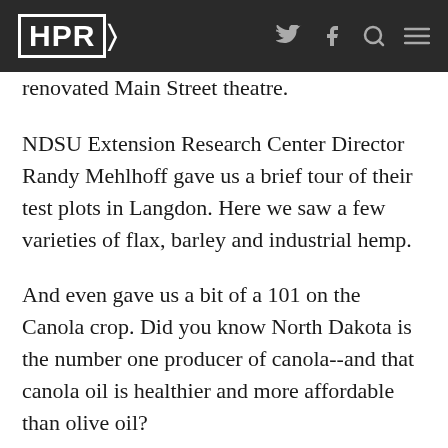HPR
renovated Main Street theatre.
NDSU Extension Research Center Director Randy Mehlhoff gave us a brief tour of their test plots in Langdon. Here we saw a few varieties of flax, barley and industrial hemp.
And even gave us a bit of a 101 on the Canola crop. Did you know North Dakota is the number one producer of canola--and that canola oil is healthier and more affordable than olive oil?
We went on see the campsites and beach areas of Mt. Carmel Dam and then headed back to Walhalla on quiet back roads lined with seemingly endless